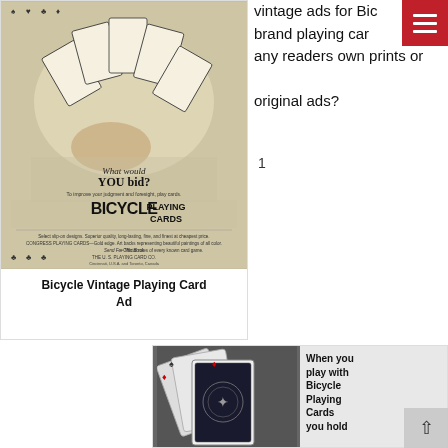[Figure (photo): Vintage Bicycle Playing Cards advertisement showing a hand fanning out playing cards with text 'What would YOU bid?' and Bicycle brand imagery, THE U.S. PLAYING CARD CO.]
Bicycle Vintage Playing Card Ad
vintage ads for Bicycle brand playing cards — any readers own prints or original ads?
1
[Figure (photo): Bicycle Playing Cards vintage advertisement showing fanned playing cards with text 'When you play with Bicycle Playing Cards you hold']